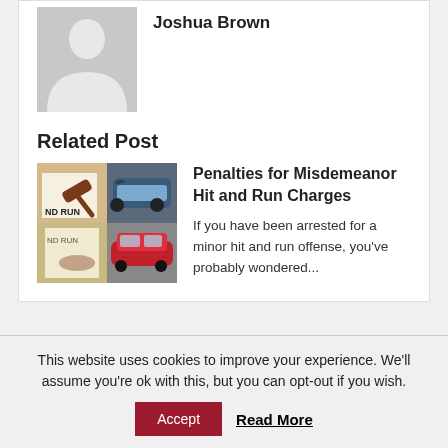[Figure (illustration): Generic user avatar placeholder — grey background with white person silhouette icon]
Joshua Brown
Related Post
[Figure (photo): Composite image showing a gavel on legal documents with text 'ND RUN', a damaged car, and a red car]
Penalties for Misdemeanor Hit and Run Charges
If you have been arrested for a minor hit and run offense, you've probably wondered...
This website uses cookies to improve your experience. We'll assume you're ok with this, but you can opt-out if you wish.
Accept
Read More